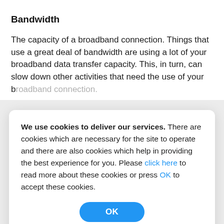Bandwidth
The capacity of a broadband connection. Things that use a great deal of bandwidth are using a lot of your broadband data transfer capacity. This, in turn, can slow down other activities that need the use of your broadband connection.
We use cookies to deliver our services. There are cookies which are necessary for the site to operate and there are also cookies which help in providing the best experience for you. Please click here to read more about these cookies or press OK to accept these cookies.
OK